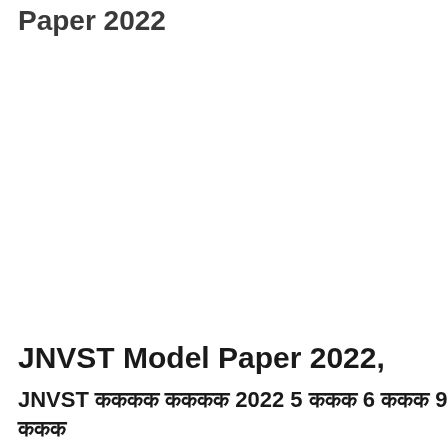Paper 2022
JNVST Model Paper 2022,
JNVST कककक कककक 2022 5 ककक 6 ककक 9 ककक